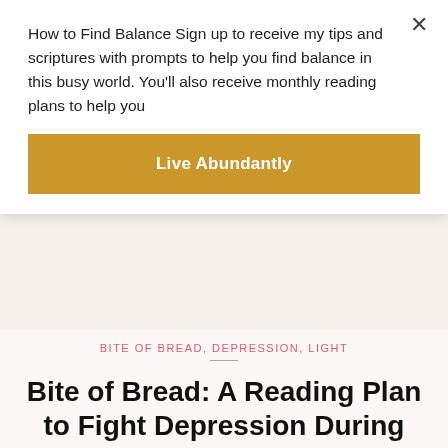How to Find Balance Sign up to receive my tips and scriptures with prompts to help you find balance in this busy world. You'll also receive monthly reading plans to help you
Live Abundantly
BITE OF BREAD, DEPRESSION, LIGHT
Bite of Bread: A Reading Plan to Fight Depression During Christmas
December 15, 2014 / Andy/ Leave a comment
(The winner of The Jesus I Never Knew is at the end of the post!)
Sometimes darkness sneaks inside my spirit. It circles